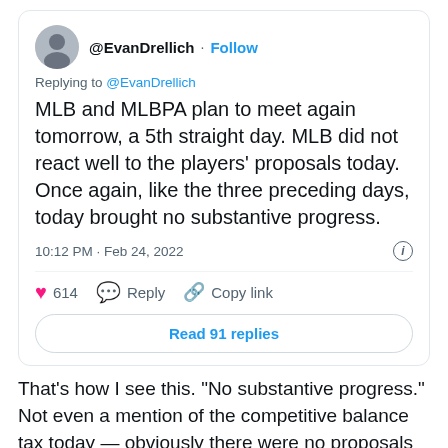[Figure (screenshot): Tweet by @EvanDrellich with avatar, handle, follow button, replying-to text, tweet body, timestamp, like count, reply and copy link actions, and Read 91 replies button]
That’s how I see this. “No substantive progress.” Not even a mention of the competitive balance tax today — obviously there were no proposals on that front, and there’s not going to be a deal unless there’s some form